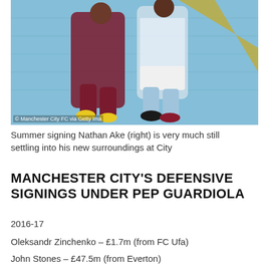[Figure (photo): Two footballers competing — one in maroon/burgundy kit (Leicester City), one in light blue/white Man City kit — against a background of blue stadium seats]
Summer signing Nathan Ake (right) is very much still settling into his new surroundings at City
MANCHESTER CITY'S DEFENSIVE SIGNINGS UNDER PEP GUARDIOLA
2016-17
Oleksandr Zinchenko – £1.7m (from FC Ufa)
John Stones – £47.5m (from Everton)